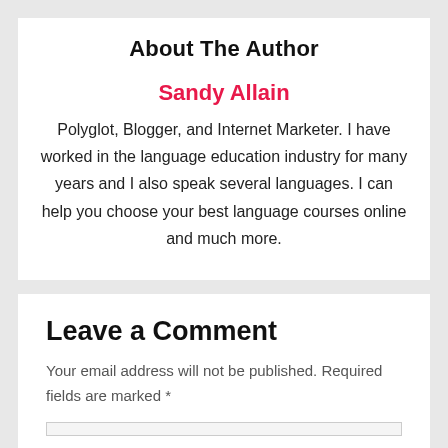About The Author
Sandy Allain
Polyglot, Blogger, and Internet Marketer. I have worked in the language education industry for many years and I also speak several languages. I can help you choose your best language courses online and much more.
Leave a Comment
Your email address will not be published. Required fields are marked *